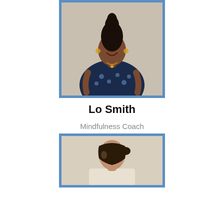[Figure (photo): Portrait photo of Lo Smith, a woman wearing a dark patterned wrap dress, smiling, with hair styled high, framed with a blue border]
Lo Smith
Mindfulness Coach
[Figure (photo): Portrait photo of a second person (partially visible), framed with a blue border, showing a woman with dark hair tied back, wearing light-colored top, beige/cream background]